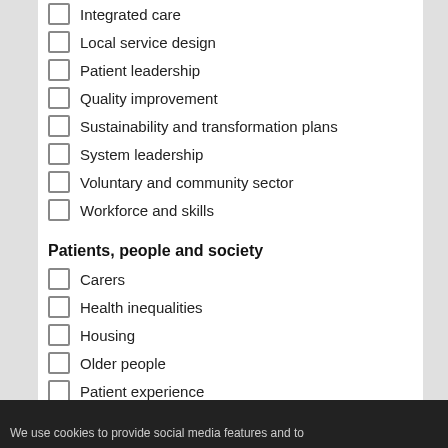Integrated care
Local service design
Patient leadership
Quality improvement
Sustainability and transformation plans
System leadership
Voluntary and community sector
Workforce and skills
Patients, people and society
Carers
Health inequalities
Housing
Older people
Patient experience
Patient involvement
Population health
We use cookies to provide social media features and to